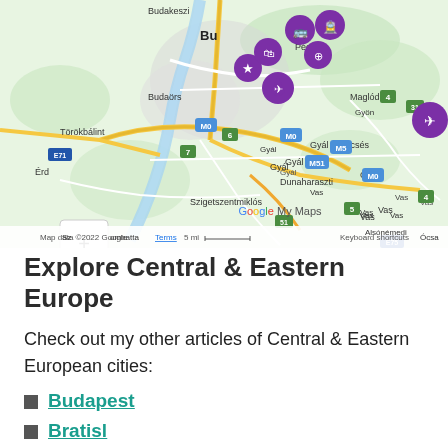[Figure (map): Google My Maps screenshot showing Budapest and surrounding areas including Budakeszi, Budaörs, Törökbálint, Érd, Dunaharaszti, Szigetszentmiklós, Vecsés, Gyál, Maglód, Alsónémedi, Ócsa. Multiple purple map markers with icons visible near Budapest center. An airplane icon marker visible to the east. Roads, highways (M0, M5, M51, E71, E75), and the Danube river visible. Map attribution: 'Map data ©2022 Google Terms 5 mi Keyboard shortcuts']
Explore Central & Eastern Europe
Check out my other articles of Central & Eastern European cities:
Budapest
Bratislava